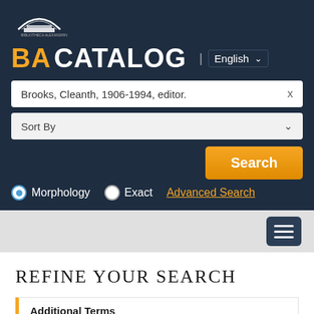[Figure (logo): Bibliotheca Alexandrina logo — white arc/building silhouette with Arabic text]
BA CATALOG
English
Brooks, Cleanth,  1906-1994,  editor.
Sort By
Search
Morphology   Exact   Advanced Search
Refine Your Search
Additional Terms